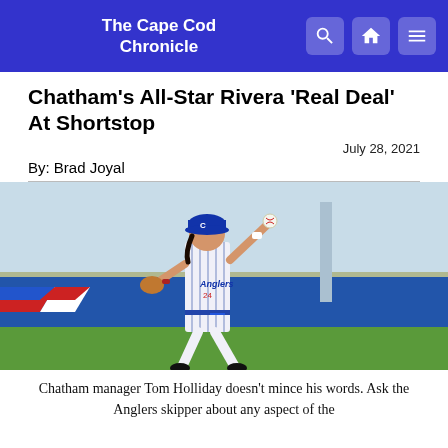The Cape Cod Chronicle
Chatham's All-Star Rivera 'Real Deal' At Shortstop
July 28, 2021
By: Brad Joyal
[Figure (photo): A baseball player in Chatham Anglers pinstripe uniform #24 in fielding stance about to throw, on a baseball field with blue outfield wall.]
Chatham manager Tom Holliday doesn't mince his words. Ask the Anglers skipper about any aspect of the